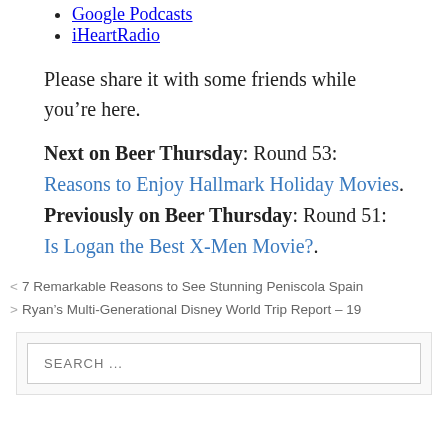Google Podcasts
iHeartRadio
Please share it with some friends while you’re here.
Next on Beer Thursday: Round 53: Reasons to Enjoy Hallmark Holiday Movies. Previously on Beer Thursday: Round 51: Is Logan the Best X-Men Movie?.
< 7 Remarkable Reasons to See Stunning Peniscola Spain
> Ryan’s Multi-Generational Disney World Trip Report – 19
SEARCH ...